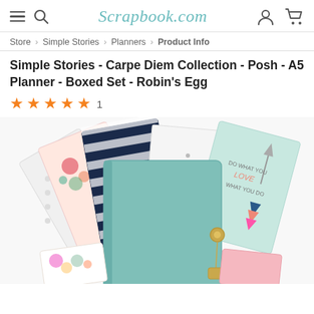Scrapbook.com
Store > Simple Stories > Planners > Product Info
Simple Stories - Carpe Diem Collection - Posh - A5 Planner - Boxed Set - Robin's Egg
★★★★★ 1
[Figure (photo): Product photo of Simple Stories Carpe Diem Posh A5 Planner Boxed Set in Robin's Egg color. Shows a teal/mint green leather planner in center with various decorative inserts, dividers, and pages fanned out behind it. Items include floral printed pages, navy striped pages, dotted white pages with holes, and a mint green page with inspirational arrow text reading 'Do what you love what you do'. Also visible are floral and pink accent pieces at bottom.]